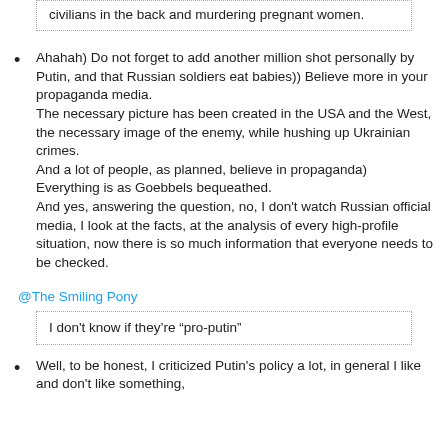civilians in the back and murdering pregnant women.
Ahahah) Do not forget to add another million shot personally by Putin, and that Russian soldiers eat babies)) Believe more in your propaganda media.
The necessary picture has been created in the USA and the West, the necessary image of the enemy, while hushing up Ukrainian crimes.
And a lot of people, as planned, believe in propaganda) Everything is as Goebbels bequeathed.
And yes, answering the question, no, I don't watch Russian official media, I look at the facts, at the analysis of every high-profile situation, now there is so much information that everyone needs to be checked.
@The Smiling Pony
I don't know if they're “pro-putin”
Well, to be honest, I criticized Putin's policy a lot, in general I like and don't like something,